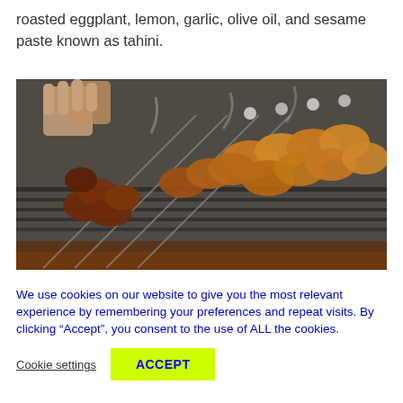roasted eggplant, lemon, garlic, olive oil, and sesame paste known as tahini.
[Figure (photo): Person grilling skewered meat on a charcoal grill, with smoke rising and multiple skewers of chicken/meat pieces visible.]
We use cookies on our website to give you the most relevant experience by remembering your preferences and repeat visits. By clicking “Accept”, you consent to the use of ALL the cookies.
Cookie settings   ACCEPT